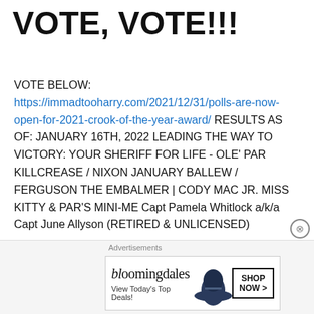VOTE, VOTE!!!
VOTE BELOW: https://immadtooharry.com/2021/12/31/polls-are-now-open-for-2021-crook-of-the-year-award/ RESULTS AS OF: JANUARY 16TH, 2022 LEADING THE WAY TO VICTORY: YOUR SHERIFF FOR LIFE - OLE' PAR KILLCREASE / NIXON JANUARY BALLEW / FERGUSON THE EMBALMER | CODY MAC JR. MISS KITTY & PAR'S MINI-ME Capt Pamela Whitlock a/k/a Capt June Allyson (RETIRED & UNLICENSED)
[Figure (other): Bloomingdale's advertisement banner showing logo, 'View Today's Top Deals!' text, woman in wide-brim hat, and 'SHOP NOW >' button]